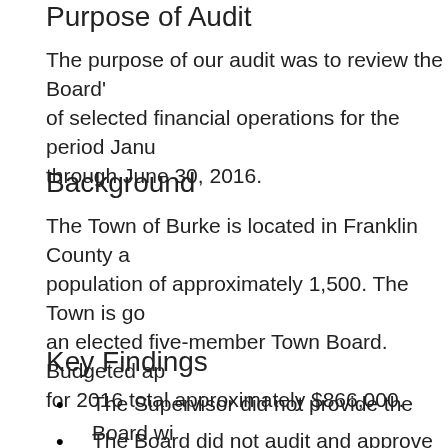Purpose of Audit
The purpose of our audit was to review the Board's of selected financial operations for the period Janu through June 30, 2016.
Background
The Town of Burke is located in Franklin County a population of approximately 1,500. The Town is go an elected five-member Town Board. Budgeted ap for 2016 total approximately $866,000.
Key Findings
The Supervisor did not provide the Board wi monthly financial reports.
The Board did not audit and approve claims accordance with Town Law for 20 of the 100